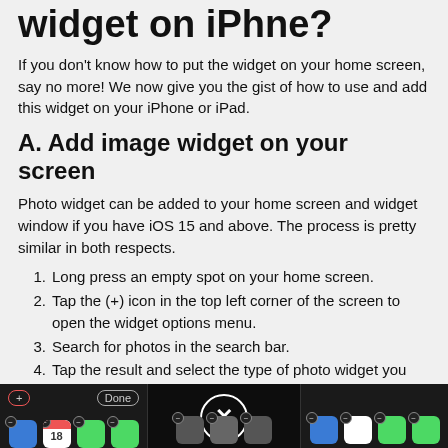widget on iPhone?
If you don't know how to put the widget on your home screen, say no more! We now give you the gist of how to use and add this widget on your iPhone or iPad.
A. Add image widget on your screen
Photo widget can be added to your home screen and widget window if you have iOS 15 and above. The process is pretty similar in both respects.
Long press an empty spot on your home screen.
Tap the (+) icon in the top left corner of the screen to open the widget options menu.
Search for photos in the search bar.
Tap the result and select the type of photo widget you want to display on your screen.
[Figure (screenshot): Screenshot of iPhone home screen in jiggle mode showing three panels: left panel with a red-bordered (+) button and app icons, middle panel with an X close button overlay, right panel with app icons. Demonstrates the widget-adding interface on iOS.]